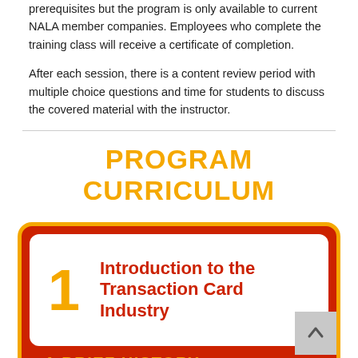prerequisites but the program is only available to current NALA member companies. Employees who complete the training class will receive a certificate of completion.
After each session, there is a content review period with multiple choice questions and time for students to discuss the covered material with the instructor.
PROGRAM CURRICULUM
[Figure (infographic): Red and orange bordered card with number 1 and title 'Introduction to the Transaction Card Industry', with a partial bottom label reading 'A BRIEF HISTORY']